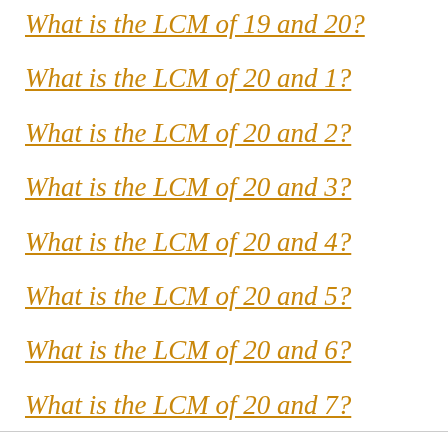What is the LCM of 19 and 20?
What is the LCM of 20 and 1?
What is the LCM of 20 and 2?
What is the LCM of 20 and 3?
What is the LCM of 20 and 4?
What is the LCM of 20 and 5?
What is the LCM of 20 and 6?
What is the LCM of 20 and 7?
What is the LCM of 20 and 8?